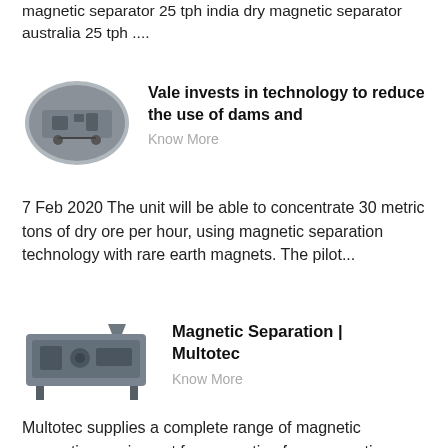magnetic separator 25 tph india dry magnetic separator australia 25 tph ....
[Figure (photo): Oval-framed photo of industrial magnetic separation machinery, gray metallic equipment]
Vale invests in technology to reduce the use of dams and
Know More
7 Feb 2020 The unit will be able to concentrate 30 metric tons of dry ore per hour, using magnetic separation technology with rare earth magnets. The pilot...
[Figure (photo): Photo of industrial magnetic separation machine - Multotec equipment, large gray rectangular unit with mechanical components]
Magnetic Separation | Multotec
Know More
Multotec supplies a complete range of magnetic separation equipment for separating ferromagnetic